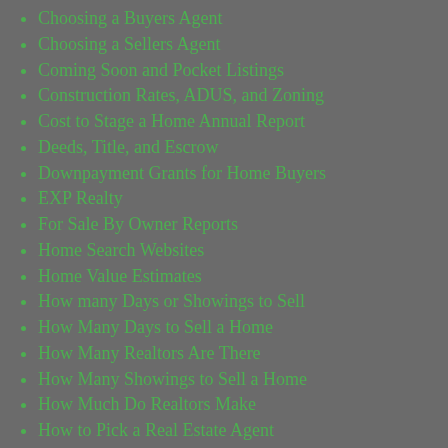Choosing a Buyers Agent
Choosing a Sellers Agent
Coming Soon and Pocket Listings
Construction Rates, ADUS, and Zoning
Cost to Stage a Home Annual Report
Deeds, Title, and Escrow
Downpayment Grants for Home Buyers
EXP Realty
For Sale By Owner Reports
Home Search Websites
Home Value Estimates
How many Days or Showings to Sell
How Many Days to Sell a Home
How Many Realtors Are There
How Many Showings to Sell a Home
How Much Do Realtors Make
How to Pick a Real Estate Agent
Landlord Laws and Rules News
Past Portland Real Estate Monthly Reports
Portland ADU Guides and Rules
Portland Condo Market
Portland Real Estate Reports (partial)